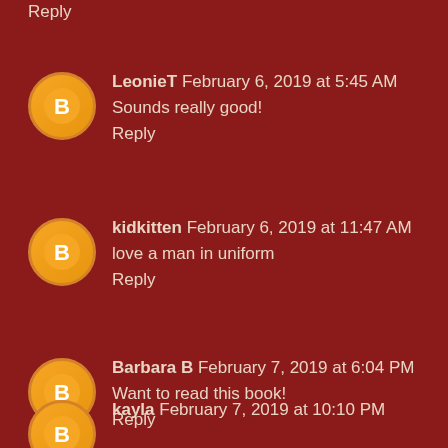Reply
LeonieT   February 6, 2019 at 5:45 AM
Sounds really good!
Reply
kidkitten   February 6, 2019 at 11:47 AM
love a man in uniform
Reply
Barbara B   February 7, 2019 at 6:04 PM
Want to read this book!
Reply
kayla   February 7, 2019 at 10:10 PM